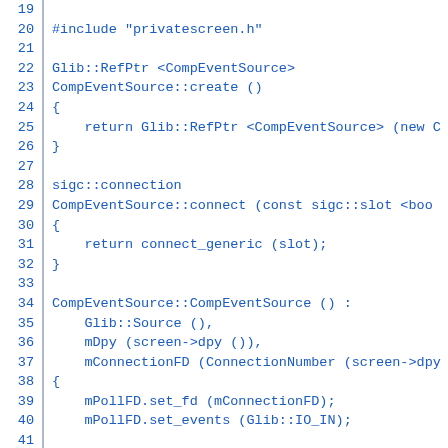[Figure (screenshot): Source code screenshot showing C++ code with line numbers 19-48, blue monospace text on white background. Code includes #include, class methods CompEventSource::create, CompEventSource::connect, and CompEventSource constructor with mPollFD setup.]